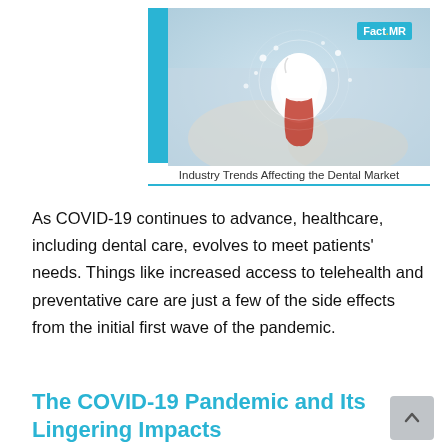[Figure (photo): Dental market industry image showing a dentist holding a glowing tooth model with sparkles. Fact.MR logo in top right corner. Caption reads 'Industry Trends Affecting the Dental Market' with a teal underline.]
Industry Trends Affecting the Dental Market
As COVID-19 continues to advance, healthcare, including dental care, evolves to meet patients' needs. Things like increased access to telehealth and preventative care are just a few of the side effects from the initial first wave of the pandemic.
The COVID-19 Pandemic and Its Lingering Impacts